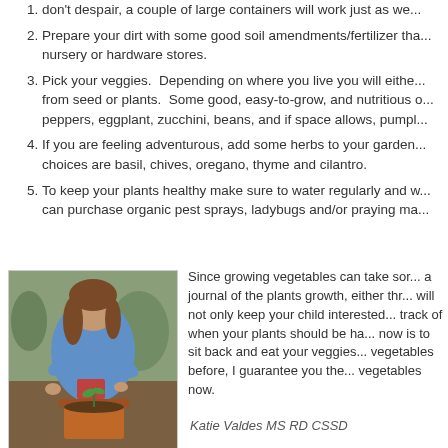don't despair, a couple of large containers will work just as we...
Prepare your dirt with some good soil amendments/fertilizer that... nursery or hardware stores.
Pick your veggies. Depending on where you live you will either... from seed or plants. Some good, easy-to-grow, and nutritious... peppers, eggplant, zucchini, beans, and if space allows, pump...
If you are feeling adventurous, add some herbs to your garden... choices are basil, chives, oregano, thyme and cilantro.
To keep your plants healthy make sure to water regularly and w... can purchase organic pest sprays, ladybugs and/or praying ma...
[Figure (photo): Young girl in blue hoodie gardening, planting in a container outdoors]
Since growing vegetables can take sor... a journal of the plants growth, either thr... will not only keep your child interested... track of when your plants should be ha... now is to sit back and eat your veggies... vegetables before, I guarantee you the... vegetables now.
Katie Valdes MS RD CSSD